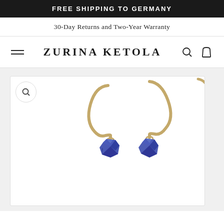FREE SHIPPING TO GERMANY
30-Day Returns and Two-Year Warranty
ZURINA KETOLA
[Figure (photo): Product photo of two gold hook earrings with faceted blue lapis lazuli gemstone drops on a white background, shown in a product image card with a zoom/magnify button in the top left corner. A partial third earring is visible at the right edge.]